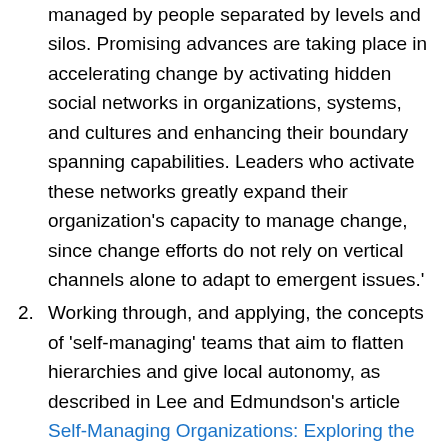managed by people separated by levels and silos. Promising advances are taking place in accelerating change by activating hidden social networks in organizations, systems, and cultures and enhancing their boundary spanning capabilities. Leaders who activate these networks greatly expand their organization's capacity to manage change, since change efforts do not rely on vertical channels alone to adapt to emergent issues.'
Working through, and applying, the concepts of 'self-managing' teams that aim to flatten hierarchies and give local autonomy, as described in Lee and Edmundson's article Self-Managing Organizations: Exploring the Limits of Less-Hierarchical Organizing. They conclude their article: 'A growing number of organizations are seeking ways to organize less hierarchically in the hopes of becoming more